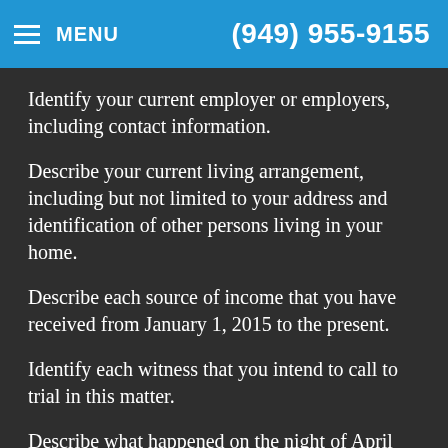MENU  (949) 955-9155
Identify your current employer or employers, including contact information.
Describe your current living arrangement, including but not limited to your address and identification of other persons living in your home.
Describe each source of income that you have received from January 1, 2015 to the present.
Identify each witness that you intend to call to trial in this matter.
Describe what happened on the night of April 13, 2016, which lead to your arrest.